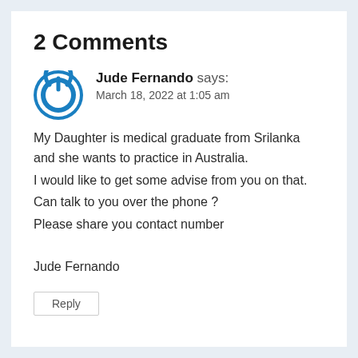2 Comments
[Figure (illustration): Blue circular power button icon used as user avatar]
Jude Fernando says:
March 18, 2022 at 1:05 am
My Daughter is medical graduate from Srilanka and she wants to practice in Australia.
I would like to get some advise from you on that.
Can talk to you over the phone ?
Please share you contact number

Jude Fernando
Reply